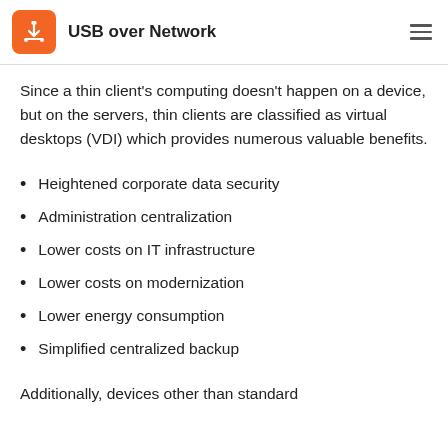USB over Network
Since a thin client's computing doesn't happen on a device, but on the servers, thin clients are classified as virtual desktops (VDI) which provides numerous valuable benefits.
Heightened corporate data security
Administration centralization
Lower costs on IT infrastructure
Lower costs on modernization
Lower energy consumption
Simplified centralized backup
Additionally, devices other than standard